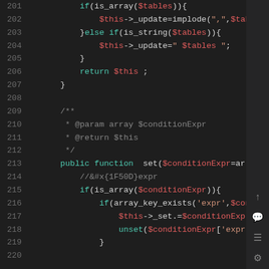[Figure (screenshot): PHP source code editor screenshot showing lines 201-220 of a PHP class with syntax highlighting on a dark background. Code includes if/else conditions, implode, is_array, is_string, return statements, a docblock comment, and a public function set() with conditionExpr handling including array_key_exists, $this->_set, and unset calls.]